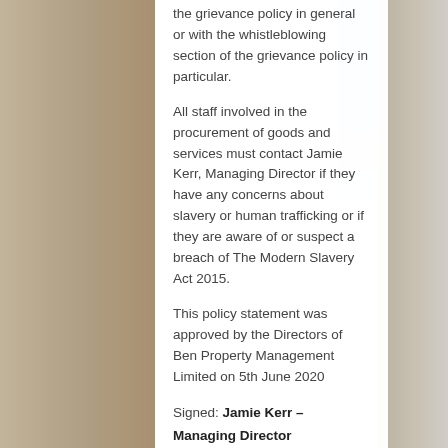the grievance policy in general or with the whistleblowing section of the grievance policy in particular.
All staff involved in the procurement of goods and services must contact Jamie Kerr, Managing Director if they have any concerns about slavery or human trafficking or if they are aware of or suspect a breach of The Modern Slavery Act 2015.
This policy statement was approved by the Directors of Ben Property Management Limited on 5th June 2020
Signed: Jamie Kerr – Managing Director
Dated: 5th June 2020
Environmental Policy
Ben Property Management is committed to...